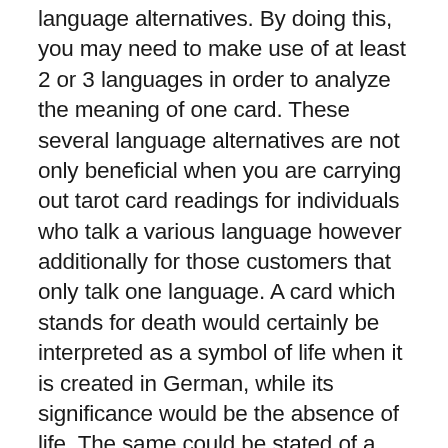language alternatives. By doing this, you may need to make use of at least 2 or 3 languages in order to analyze the meaning of one card. These several language alternatives are not only beneficial when you are carrying out tarot card readings for individuals who talk a various language however additionally for those customers that only talk one language. A card which stands for death would certainly be interpreted as a symbol of life when it is created in German, while its significance would be the absence of life. The same could be stated of a tarot card analysis for someone who just speaks English.
The four facets of a good tarot card analysis relate to the Rider-Waite-mith tarot deck